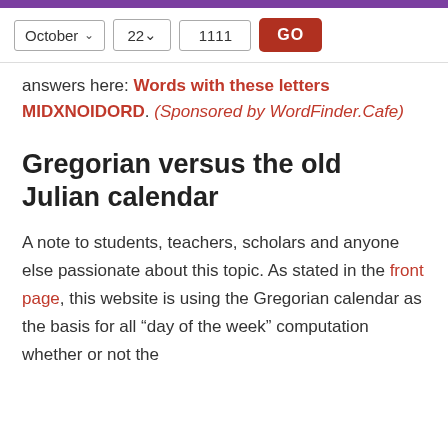answers here: Words with these letters MIDXNOIDORD. (Sponsored by WordFinder.Cafe)
Gregorian versus the old Julian calendar
A note to students, teachers, scholars and anyone else passionate about this topic. As stated in the front page, this website is using the Gregorian calendar as the basis for all “day of the week” computation whether or not the